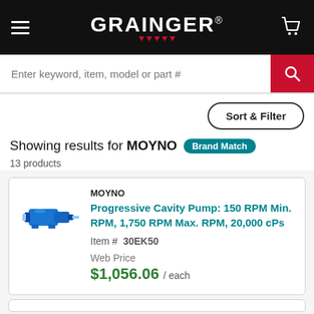GRAINGER
Enter keyword, item, model or part #
Sort & Filter
Showing results for MOYNO  Brand Match
13 products
MOYNO
Progressive Cavity Pump: 150 RPM Min. RPM, 1,750 RPM Max. RPM, 20,000 cPs
Item # 30EK50
Web Price
$1,056.06 / each